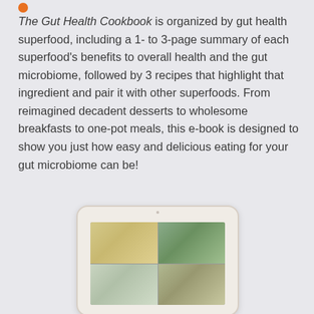The Gut Health Cookbook is organized by gut health superfood, including a 1- to 3-page summary of each superfood's benefits to overall health and the gut microbiome, followed by 3 recipes that highlight that ingredient and pair it with other superfoods. From reimagined decadent desserts to wholesome breakfasts to one-pot meals, this e-book is designed to show you just how easy and delicious eating for your gut microbiome can be!
[Figure (photo): A tablet device displaying a grid of food/recipe photos from The Gut Health Cookbook e-book]